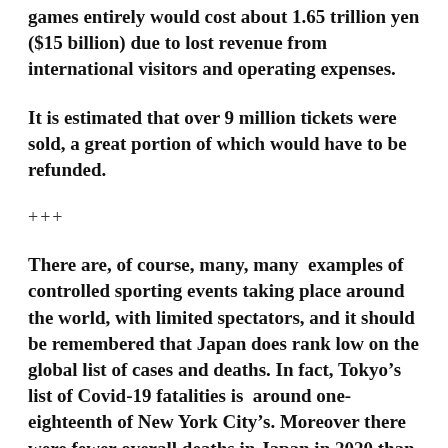games entirely would cost about 1.65 trillion yen ($15 billion) due to lost revenue from international visitors and operating expenses.
It is estimated that over 9 million tickets were sold, a great portion of which would have to be refunded.
+++
There are, of course, many, many  examples of controlled sporting events taking place around the world, with limited spectators, and it should be remembered that Japan does rank low on the global list of cases and deaths. In fact, Tokyo’s list of Covid-19 fatalities is  around one-eighteenth of New York City’s. Moreover there were fewer overall deaths in Japan in 2020 than there were in 2019.